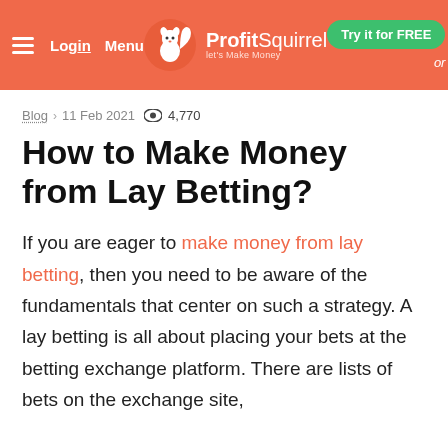Login  Menu  ProfitSquirrel Let's Make Money  or  Try it for FREE
Blog › 11 Feb 2021 👁 4,770
How to Make Money from Lay Betting?
If you are eager to make money from lay betting, then you need to be aware of the fundamentals that center on such a strategy. A lay betting is all about placing your bets at the betting exchange platform. There are lists of bets on the exchange site,